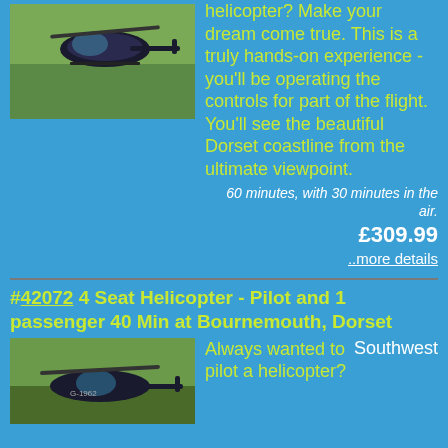[Figure (photo): Helicopter in flight over countryside, dark blue helicopter]
helicopter? Make your dream come true. This is a truly hands-on experience - you'll be operating the controls for part of the flight. You'll see the beautiful Dorset coastline from the ultimate viewpoint.
60 minutes, with 30 minutes in the air.
£309.99
..more details
#42072 4 Seat Helicopter - Pilot and 1 passenger 40 Min at Bournemouth, Dorset
[Figure (photo): Helicopter on ground or low flight, closeup view]
Always wanted to pilot a helicopter?
Southwest